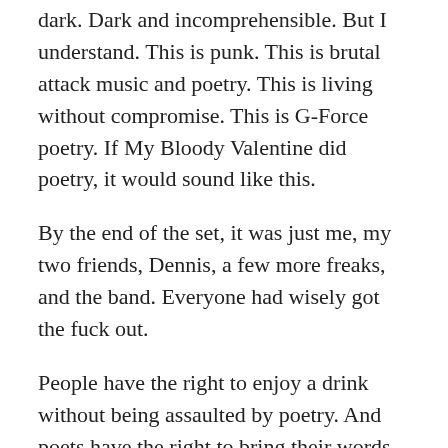dark. Dark and incomprehensible. But I understand. This is punk. This is brutal attack music and poetry. This is living without compromise. This is G-Force poetry. If My Bloody Valentine did poetry, it would sound like this.
By the end of the set, it was just me, my two friends, Dennis, a few more freaks, and the band. Everyone had wisely got the fuck out.
People have the right to enjoy a drink without being assaulted by poetry. And poets have the right to bring their words into pubs and carry out assaults. Everyone is right. And not everyone can be happy all the time.